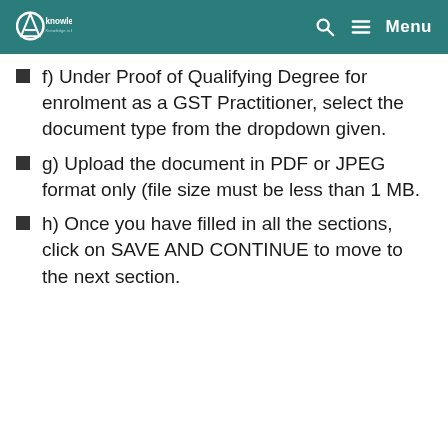AKnowledge.com — Menu
f) Under Proof of Qualifying Degree for enrolment as a GST Practitioner, select the document type from the dropdown given.
g) Upload the document in PDF or JPEG format only (file size must be less than 1 MB.
h) Once you have filled in all the sections, click on SAVE AND CONTINUE to move to the next section.